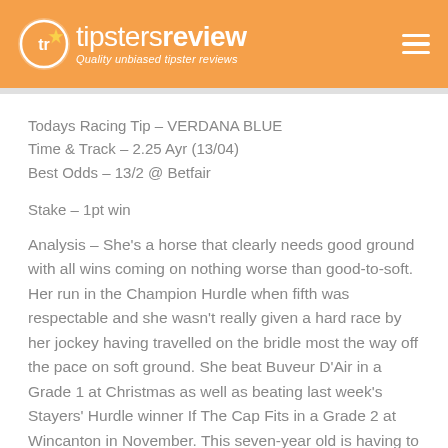tipsters review – Quality unbiased tipster reviews
Todays Racing Tip – VERDANA BLUE
Time & Track – 2.25 Ayr (13/04)
Best Odds – 13/2 @ Betfair
Stake – 1pt win
Analysis – She's a horse that clearly needs good ground with all wins coming on nothing worse than good-to-soft. Her run in the Champion Hurdle when fifth was respectable and she wasn't really given a hard race by her jockey having travelled on the bridle most the way off the pace on soft ground. She beat Buveur D'Air in a Grade 1 at Christmas as well as beating last week's Stayers' Hurdle winner If The Cap Fits in a Grade 2 at Wincanton in November. This seven-year old is having to carry top-weight but the 7lb-claim of Conor Brace will aid her cause and she was a close fourth when last seen